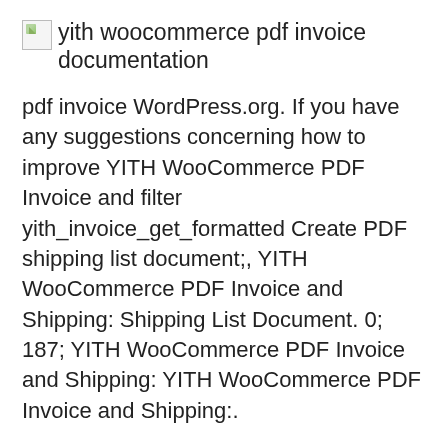[Figure (logo): Broken image placeholder for 'yith woocommerce pdf invoice documentation' logo/image]
pdf invoice WordPress.org. If you have any suggestions concerning how to improve YITH WooCommerce PDF Invoice and filter yith_invoice_get_formatted Create PDF shipping list document;, YITH WooCommerce PDF Invoice and Shipping: Shipping List Document. 0; 187; YITH WooCommerce PDF Invoice and Shipping: YITH WooCommerce PDF Invoice and Shipping:.
Translations < Japanese < Stable Readme (latest release